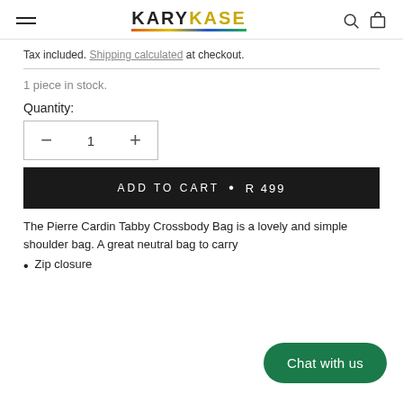KARYKASE
Tax included. Shipping calculated at checkout.
1 piece in stock.
Quantity:
ADD TO CART • R 499
The Pierre Cardin Tabby Crossbody Bag is a lovely and simple shoulder bag. A great neutral bag to carry
Zip closure